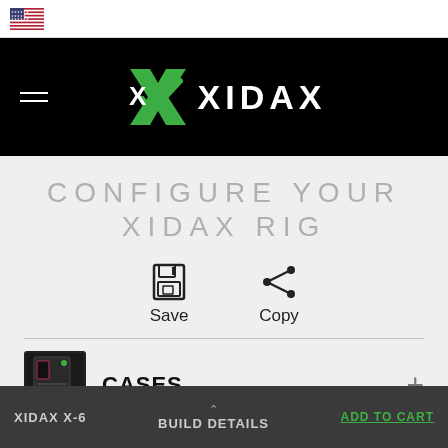[Figure (logo): US flag icon in top bar]
[Figure (logo): Xidax logo with green X checkmark and white XIDAX text on black nav bar]
CONFIGURE YOUR XIDAX RIG
[Figure (infographic): Save icon (floppy disk) and Copy icon (share) with labels Save and Copy]
CASES
[Figure (photo): Xidax gaming PC case product thumbnail image]
XIDAX X-6  BUILD DETAILS  ADD TO CART